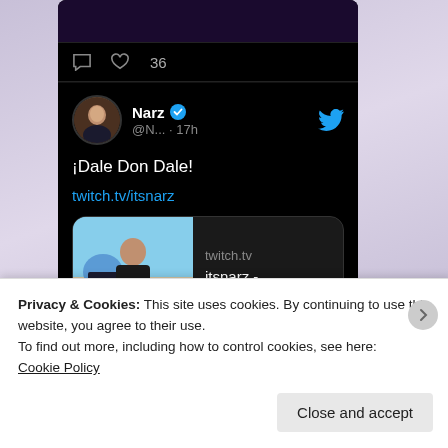[Figure (screenshot): Screenshot of a Twitter/mobile app showing a tweet from user 'Narz' (verified, @N... · 17h) with text '¡Dale Don Dale!' and a Twitch link preview card for twitch.tv/itsnarz. Above the tweet is an icon row showing a comment icon and a heart icon with count 36.]
Privacy & Cookies: This site uses cookies. By continuing to use this website, you agree to their use.
To find out more, including how to control cookies, see here:
Cookie Policy
Close and accept